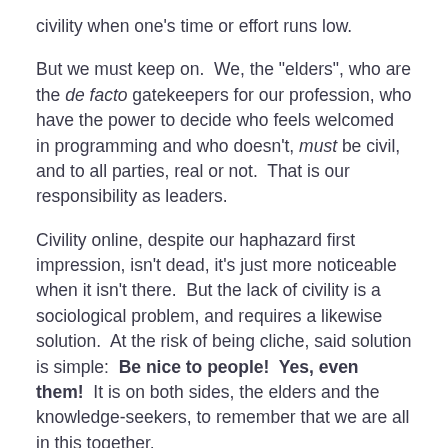civility when one's time or effort runs low.
But we must keep on.  We, the "elders", who are the de facto gatekeepers for our profession, who have the power to decide who feels welcomed in programming and who doesn't, must be civil, and to all parties, real or not.  That is our responsibility as leaders.
Civility online, despite our haphazard first impression, isn't dead, it's just more noticeable when it isn't there.  But the lack of civility is a sociological problem, and requires a likewise solution.  At the risk of being cliche, said solution is simple:  Be nice to people!  Yes, even them!  It is on both sides, the elders and the knowledge-seekers, to remember that we are all in this together.
Happy Coding!